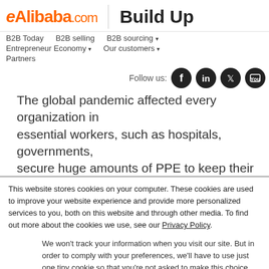Alibaba.com | Build Up
B2B Today   B2B selling   B2B sourcing ▾   Entrepreneur Economy ▾   Our customers ▾   Partners
Follow us:
The global pandemic affected every organization in... essential workers, such as hospitals, governments,... secure huge amounts of PPE to keep their employe... directly with manufacturers so businesses don't ha...
This website stores cookies on your computer. These cookies are used to improve your website experience and provide more personalized services to you, both on this website and through other media. To find out more about the cookies we use, see our Privacy Policy.
We won't track your information when you visit our site. But in order to comply with your preferences, we'll have to use just one tiny cookie so that you're not asked to make this choice again.
Accept
Decline